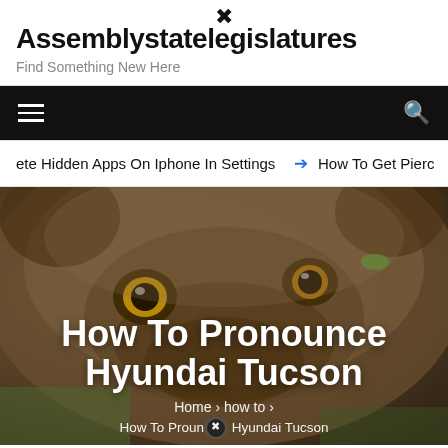Assemblystatelegislatures
Find Something New Here
≡   🔍
ete Hidden Apps On Iphone In Settings  ➡ How To Get Pierc
[Figure (photo): Close-up photo of a dog's face looking upward, with brown fur and large eyes visible, used as hero background image]
How To Pronounce Hyundai Tucson
Home > how to > How To Pronounce Hyundai Tucson